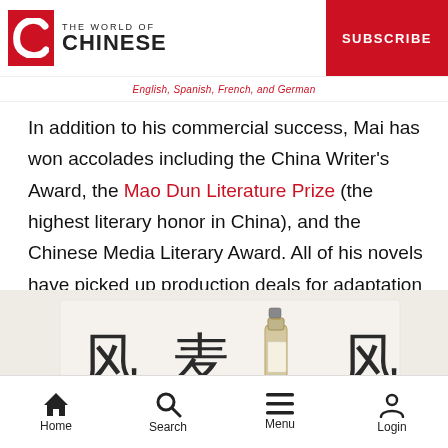THE WORLD OF CHINESE
English, Spanish, French, and German
In addition to his commercial success, Mai has won accolades including the China Writer's Award, the Mao Dun Literature Prize (the highest literary honor in China), and the Chinese Media Literary Award. All of his novels have picked up production deals for adaptation into film and TV series.
[Figure (photo): Book packaging with Chinese characters 风 麦 风 and a small bottle in the center, white/cream colored box]
Home  Search  Menu  Login